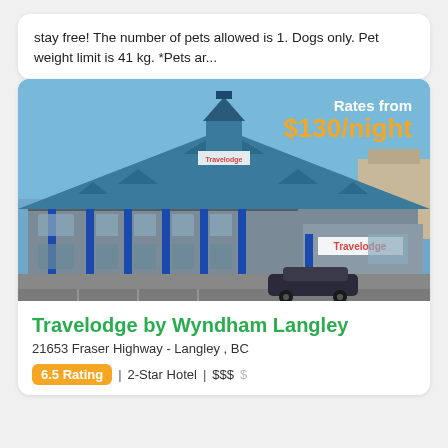stay free! The number of pets allowed is 1. Dogs only. Pet weight limit is 41 kg. *Pets ar...
[Figure (photo): Exterior photo of Travelodge by Wyndham Langley hotel building with blue roof and blue columns, parking lot in foreground, overlaid with 'Rates from $130/night' text]
Travelodge by Wyndham Langley
21653 Fraser Highway - Langley , BC
6.5 Rating | 2-Star Hotel | $$$S